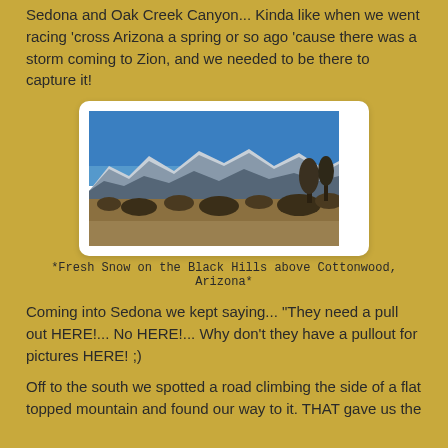Sedona and Oak Creek Canyon... Kinda like when we went racing 'cross Arizona a spring or so ago 'cause there was a storm coming to Zion, and we needed to be there to capture it!
[Figure (photo): Landscape photo showing snow-capped Black Hills mountains above Cottonwood, Arizona, with desert scrub vegetation in the foreground and a clear blue sky above.]
*Fresh Snow on the Black Hills above Cottonwood, Arizona*
Coming into Sedona we kept saying... "They need a pull out HERE!... No HERE!... Why don't they have a pullout for pictures HERE! ;)
Off to the south we spotted a road climbing the side of a flat topped mountain and found our way to it. THAT gave us the